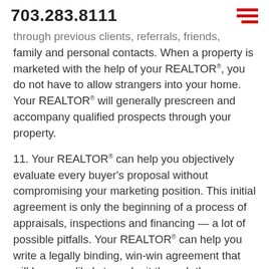703.283.8111
through previous clients, referrals, friends, family and personal contacts. When a property is marketed with the help of your REALTOR®, you do not have to allow strangers into your home. Your REALTOR® will generally prescreen and accompany qualified prospects through your property.
11. Your REALTOR® can help you objectively evaluate every buyer's proposal without compromising your marketing position. This initial agreement is only the beginning of a process of appraisals, inspections and financing — a lot of possible pitfalls. Your REALTOR® can help you write a legally binding, win-win agreement that will be more likely to make it through the process.